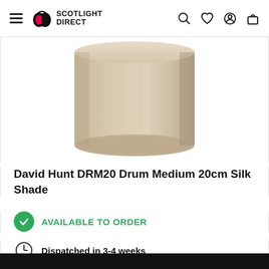Scotlight Direct
[Figure (photo): A beige/cream cylindrical drum silk lamp shade, photographed from slightly above on a white background. The shade has a smooth, textured fabric surface.]
David Hunt DRM20 Drum Medium 20cm Silk Shade
AVAILABLE TO ORDER
Dispatched in 3-4 weeks